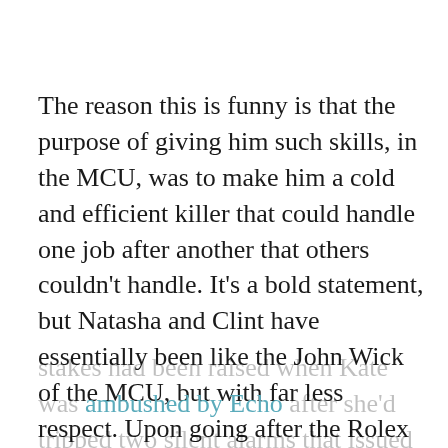The reason this is funny is that the purpose of giving him such skills, in the MCU, was to make him a cold and efficient killer that could handle one job after another that others couldn't handle. It's a bold statement, but Natasha and Clint have essentially been like the John Wick of the MCU, but with far less respect. Upon going after the Rolex though it instantly became apparent that the stakes had been raised when Kate was ambushed by Echo after she'd tripped two silent alarms that issued a strobe-light effect, while Clint was ambushed by a masked assailant that he recognized